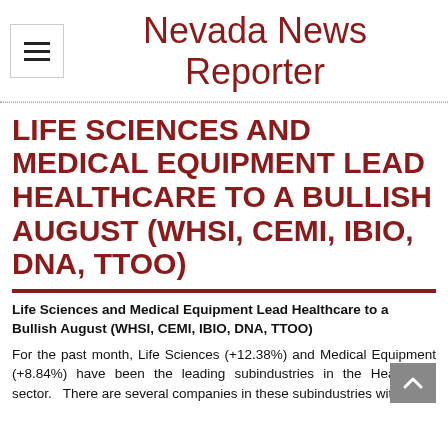Nevada News Reporter
LIFE SCIENCES AND MEDICAL EQUIPMENT LEAD HEALTHCARE TO A BULLISH AUGUST (WHSI, CEMI, IBIO, DNA, TTOO)
Life Sciences and Medical Equipment Lead Healthcare to a Bullish August (WHSI, CEMI, IBIO, DNA, TTOO)
For the past month, Life Sciences (+12.38%) and Medical Equipment (+8.84%) have been the leading subindustries in the Healthcare sector. There are several companies in these subindustries with